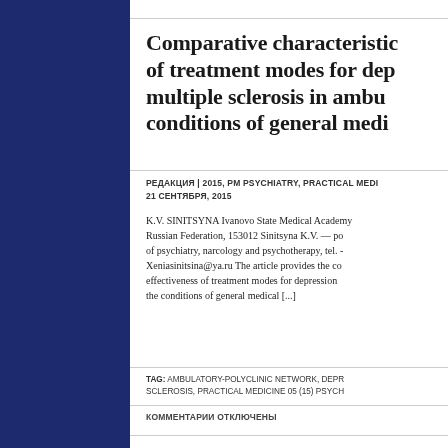Comparative characteristics of treatment modes for depression multiple sclerosis in ambulatory conditions of general medi...
РЕДАКЦИЯ | 2015, PM PSYCHIATRY, PRACTICAL MEDI... 21 СЕНТЯБРЯ, 2015
K.V. SINITSYNA Ivanovo State Medical Academy, Russian Federation, 153012 Sinitsyna K.V. — po... of psychiatry, narcology and psychotherapy, tel. -... Xeniasinitsina@ya.ru The article provides the co... effectiveness of treatment modes for depression... the conditions of general medical [...]
TAG: AMBULATORY-POLYCLINIC NETWORK, DEPR... SCLEROSIS, PRACTICAL MEDICINE 05 (15) PSYCH...
КОММЕНТАРИИ ОТКЛЮЧЕНЫ